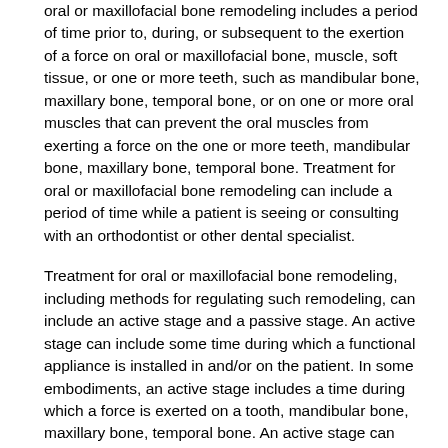oral or maxillofacial bone remodeling includes a period of time prior to, during, or subsequent to the exertion of a force on oral or maxillofacial bone, muscle, soft tissue, or one or more teeth, such as mandibular bone, maxillary bone, temporal bone, or on one or more oral muscles that can prevent the oral muscles from exerting a force on the one or more teeth, mandibular bone, maxillary bone, temporal bone. Treatment for oral or maxillofacial bone remodeling can include a period of time while a patient is seeing or consulting with an orthodontist or other dental specialist.
Treatment for oral or maxillofacial bone remodeling, including methods for regulating such remodeling, can include an active stage and a passive stage. An active stage can include some time during which a functional appliance is installed in and/or on the patient. In some embodiments, an active stage includes a time during which a force is exerted on a tooth, mandibular bone, maxillary bone, temporal bone. An active stage can include a period during which the patient is undergoing one or more adjustments to the patient's functional appliance. A passive stage can include a period after a functional appliance has been removed from the patient. In some